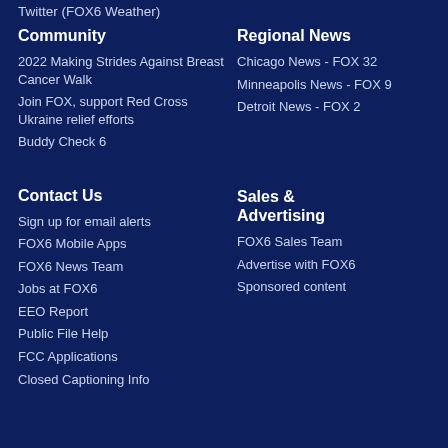Twitter (FOX6 Weather)
Community
2022 Making Strides Against Breast Cancer Walk
Join FOX, support Red Cross Ukraine relief efforts
Buddy Check 6
Regional News
Chicago News - FOX 32
Minneapolis News - FOX 9
Detroit News - FOX 2
Contact Us
Sign up for email alerts
FOX6 Mobile Apps
FOX6 News Team
Jobs at FOX6
EEO Report
Public File Help
FCC Applications
Closed Captioning Info
Sales & Advertising
FOX6 Sales Team
Advertise with FOX6
Sponsored content